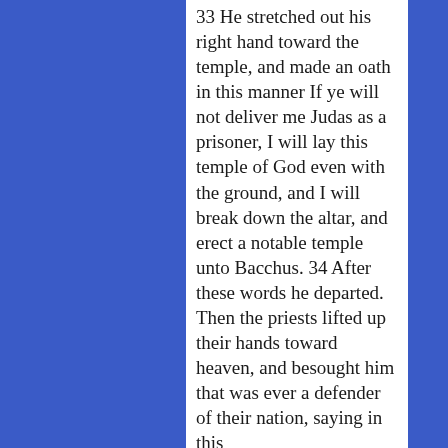33 He stretched out his right hand toward the temple, and made an oath in this manner If ye will not deliver me Judas as a prisoner, I will lay this temple of God even with the ground, and I will break down the altar, and erect a notable temple unto Bacchus. 34 After these words he departed. Then the priests lifted up their hands toward heaven, and besought him that was ever a defender of their nation, saying in this